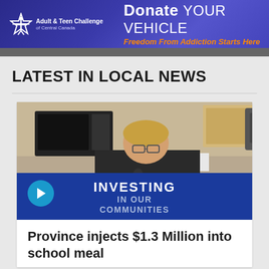[Figure (illustration): Adult & Teen Challenge of Central Canada banner ad with blue gradient background. Left side shows star/person logo and organization name. Right side shows text 'Donate YOUR VEHICLE' and 'Freedom From Addiction Starts Here' in orange italic.]
LATEST IN LOCAL NEWS
[Figure (photo): Video thumbnail showing a woman in a black shirt seated at a podium with a microphone. In the background is a kitchen with a microwave. A blue play button is visible at the bottom left. A blue podium sign reads 'INVESTING IN OUR COMMUNITIES'.]
Province injects $1.3 Million into school meal